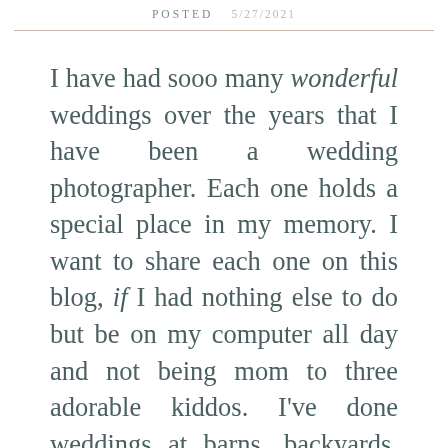POSTED  5/27/2021
I have had sooo many wonderful weddings over the years that I have been a wedding photographer. Each one holds a special place in my memory. I want to share each one on this blog, if I had nothing else to do but be on my computer all day and not being mom to three adorable kiddos. I've done weddings at barns, backyards, parks, mountaintops and